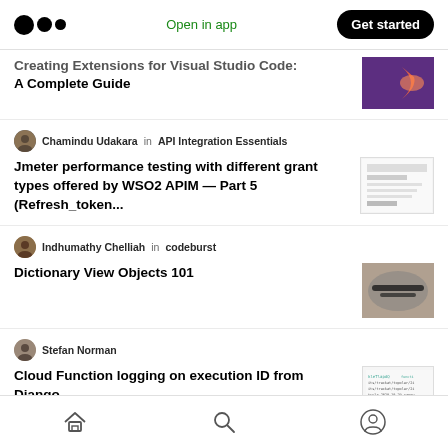Open in app | Get started
Creating Extensions for Visual Studio Code: A Complete Guide
Chamindu Udakara in API Integration Essentials
Jmeter performance testing with different grant types offered by WSO2 APIM — Part 5 (Refresh_token...
Indhumathy Chelliah in codeburst
Dictionary View Objects 101
Stefan Norman
Cloud Function logging on execution ID from Django
Home | Search | Profile